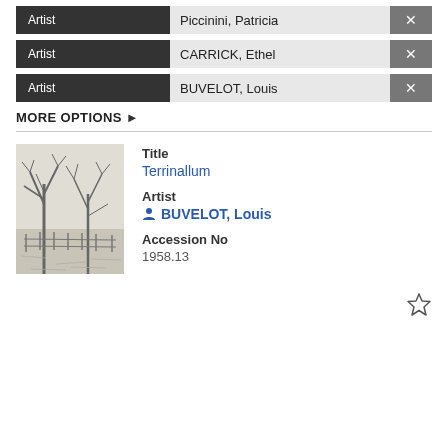Artist | Piccinini, Patricia | ×
Artist | CARRICK, Ethel | ×
Artist | BUVELOT, Louis | ×
MORE OPTIONS ▶
Title
Terrinallum
Artist
BUVELOT, Louis
Accession No
1958.13
[Figure (illustration): Pencil sketch of a rural landscape with bare trees and a fence in the foreground]